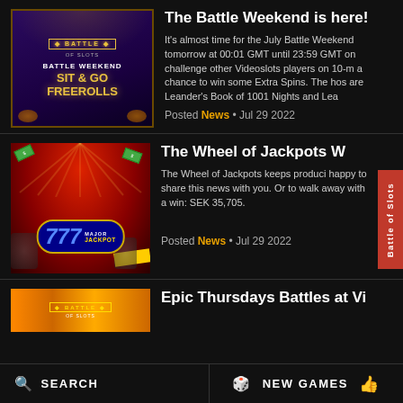[Figure (screenshot): Battle Weekend Sit & Go Freerolls promotional image with purple/dark background and golden text]
The Battle Weekend is here!
It's almost time for the July Battle Weekend tomorrow at 00:01 GMT until 23:59 GMT on challenge other Videoslots players on 10-m a chance to win some Extra Spins. The hos are Leander's Book of 1001 Nights and Lea
Posted News • Jul 29 2022
[Figure (screenshot): Wheel of Jackpots promotional image with 777 major jackpot badge on red curtain background]
The Wheel of Jackpots W
The Wheel of Jackpots keeps produci happy to share this news with you. Or to walk away with a win: SEK 35,705.
Posted News • Jul 29 2022
[Figure (screenshot): Epic Thursdays Battles at Vi - Battle of Slots banner with orange/gold background]
Epic Thursdays Battles at Vi
SEARCH   NEW GAMES